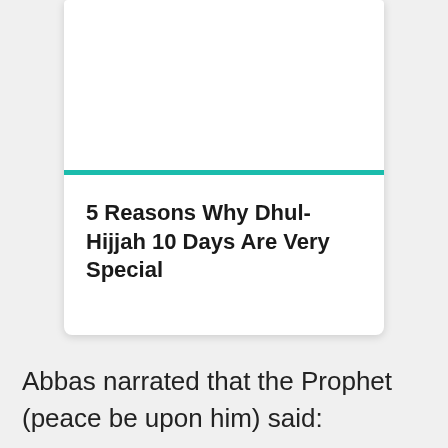5 Reasons Why Dhul-Hijjah 10 Days Are Very Special
Abbas narrated that the Prophet (peace be upon him) said: